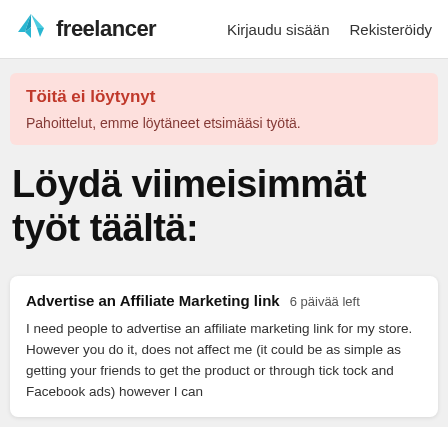freelancer   Kirjaudu sisään   Rekisteröidy
Töitä ei löytynyt
Pahoittelut, emme löytäneet etsimääsi työtä.
Löydä viimeisimmät työt täältä:
Advertise an Affiliate Marketing link  6 päivää left
I need people to advertise an affiliate marketing link for my store. However you do it, does not affect me (it could be as simple as getting your friends to get the product or through tick tock and Facebook ads) however I can